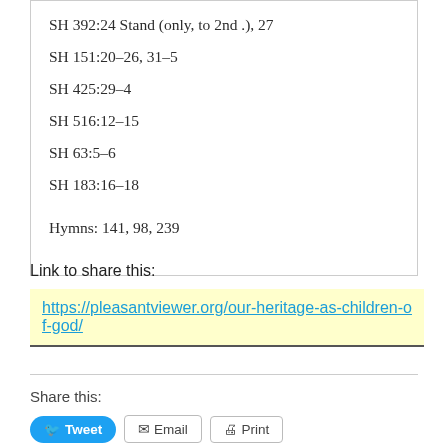SH 392:24 Stand (only, to 2nd .), 27
SH 151:20-26, 31-5
SH 425:29-4
SH 516:12-15
SH 63:5-6
SH 183:16-18
Hymns: 141, 98, 239
Link to share this:
https://pleasantviewer.org/our-heritage-as-children-of-god/
Share this:
Tweet   Email   Print